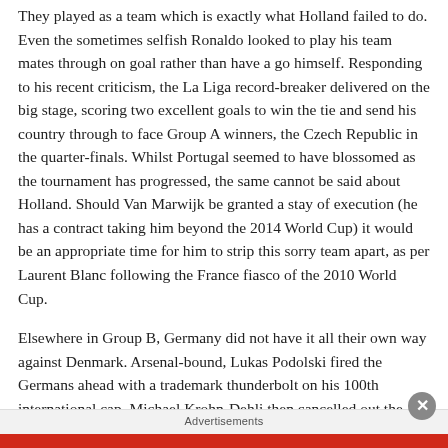They played as a team which is exactly what Holland failed to do. Even the sometimes selfish Ronaldo looked to play his team mates through on goal rather than have a go himself. Responding to his recent criticism, the La Liga record-breaker delivered on the big stage, scoring two excellent goals to win the tie and send his country through to face Group A winners, the Czech Republic in the quarter-finals. Whilst Portugal seemed to have blossomed as the tournament has progressed, the same cannot be said about Holland. Should Van Marwijk be granted a stay of execution (he has a contract taking him beyond the 2014 World Cup) it would be an appropriate time for him to strip this sorry team apart, as per Laurent Blanc following the France fiasco of the 2010 World Cup.
Elsewhere in Group B, Germany did not have it all their own way against Denmark. Arsenal-bound, Lukas Podolski fired the Germans ahead with a trademark thunderbolt on his 100th international cap. Michael Krohn-Dehli then cancelled out the Germans lead and it was not until the 80th minute that Lars Bender, flying up the pitch on a counter-attack from the right back position, calmly side footed Mesut Ozil's centre
Advertisements